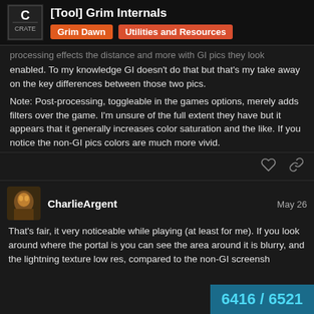[Tool] Grim Internals | Grim Dawn | Utilities and Resources
processing effects the distance and more with GI pics they look enabled. To my knowledge GI doesn't do that but that's my take away on the key differences between those two pics.
Note: Post-processing, toggleable in the games options, merely adds filters over the game. I'm unsure of the full extent they have but it appears that it generally increases color saturation and the like. If you notice the non-GI pics colors are much more vivid.
CharlieArgent   May 26
That's fair, it very noticeable while playing (at least for me). If you look around where the portal is you can see the area around it is blurry, and the lightning texture low res, compared to the non-GI screensh
6416 / 6521